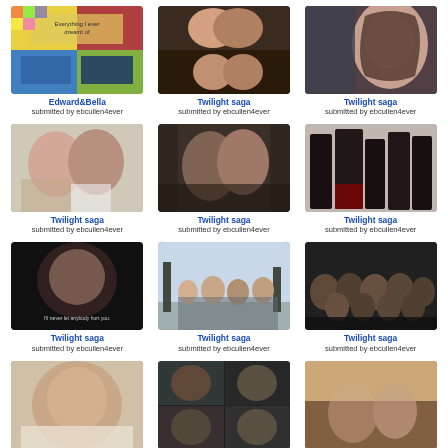[Figure (photo): Edward & Bella fan art collage with colorful mosaic overlay and romantic scenes]
Edward&Bella
submitted by ebcullen4ever
[Figure (photo): Twilight saga romantic kissing scenes collage]
Twilight saga
submitted by ebcullen4ever
[Figure (photo): Twilight saga - Bella Swan portrait with dark background]
Twilight saga
submitted by ebcullen4ever
[Figure (photo): Twilight saga - Edward and Bella kissing at wedding]
Twilight saga
submitted by ebcullen4ever
[Figure (photo): Twilight saga - Bella and Edward close-up indoor scene]
Twilight saga
submitted by ebcullen4ever
[Figure (photo): Twilight saga - Volturi cloaked figures in snow]
Twilight saga
submitted by ebcullen4ever
[Figure (photo): Twilight saga - Bella dark scene with subtitle text 'I'll never let anybody hurt you.']
Twilight saga
submitted by ebcullen4ever
[Figure (photo): Twilight saga - group of vampires in snowy forest]
Twilight saga
submitted by ebcullen4ever
[Figure (photo): Twilight saga - large group of characters gathered]
Twilight saga
submitted by ebcullen4ever
[Figure (photo): Twilight saga - Bella close-up lying down]
Twilight saga
[Figure (photo): Twilight saga - collage of group scenes]
[Figure (photo): Twilight saga - romantic scene outdoors]